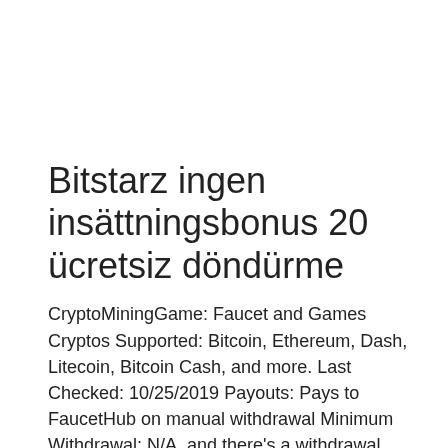Bitstarz ingen insättningsbonus 20 ücretsiz döndürme
CryptoMiningGame: Faucet and Games Cryptos Supported: Bitcoin, Ethereum, Dash, Litecoin, Bitcoin Cash, and more. Last Checked: 10/25/2019 Payouts: Pays to FaucetHub on manual withdrawal Minimum Withdrawal: N/A, and there's a withdrawal fee, bitstarz ingen insättningsbonus 20 ücretsiz döndürme. Get Free Dogecoins from Dogecoin Faucets that Pay. Some website also needs u to register, bitstarz ingen insättningsbonus 20 ücretsiz